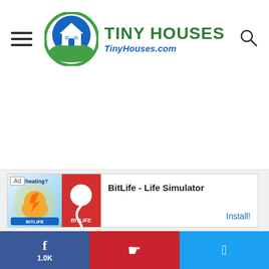TINY HOUSES TinyHouses.com
[Figure (other): Advertisement for BitLife - Life Simulator app showing game graphic on left and Install button on right]
BitLife - Life Simulator
Install!
f 1.0K
P
T